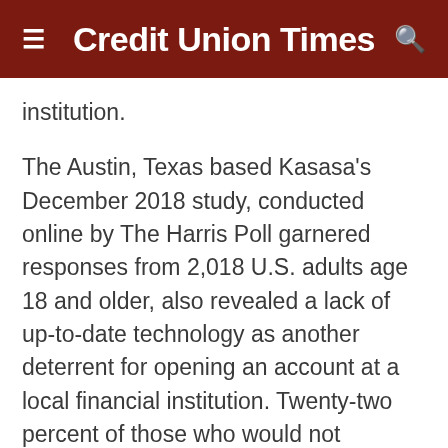Credit Union Times
institution.
The Austin, Texas based Kasasa's December 2018 study, conducted online by The Harris Poll garnered responses from 2,018 U.S. adults age 18 and older, also revealed a lack of up-to-date technology as another deterrent for opening an account at a local financial institution. Twenty-two percent of those who would not